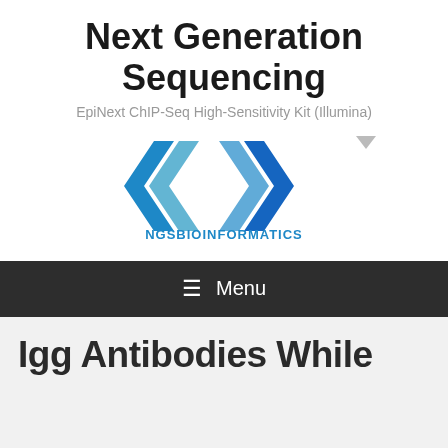Next Generation Sequencing
EpiNext ChIP-Seq High-Sensitivity Kit (Illumina)
[Figure (logo): NGSBioinformatics logo: a blue diamond/chevron angular bracket icon above the text NGSBIOINFORMATICS in blue]
≡ Menu
Igg Antibodies While